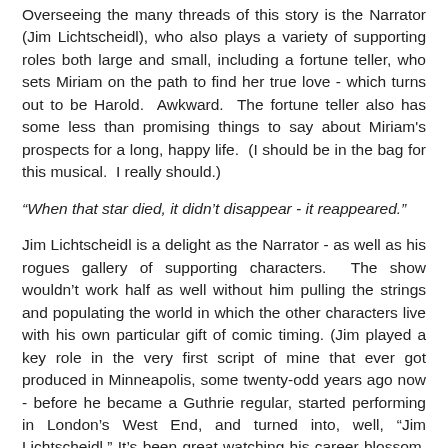Overseeing the many threads of this story is the Narrator (Jim Lichtscheidl), who also plays a variety of supporting roles both large and small, including a fortune teller, who sets Miriam on the path to find her true love - which turns out to be Harold.  Awkward.  The fortune teller also has some less than promising things to say about Miriam's prospects for a long, happy life.  (I should be in the bag for this musical.  I really should.)
“When that star died, it didn’t disappear - it reappeared.”
Jim Lichtscheidl is a delight as the Narrator - as well as his rogues gallery of supporting characters.  The show wouldn’t work half as well without him pulling the strings and populating the world in which the other characters live with his own particular gift of comic timing. (Jim played a key role in the very first script of mine that ever got produced in Minneapolis, some twenty-odd years ago now - before he became a Guthrie regular, started performing in London’s West End, and turned into, well, “Jim Lichtscheidl.” It’s been great watching his career blossom, the guy’s amazing.)